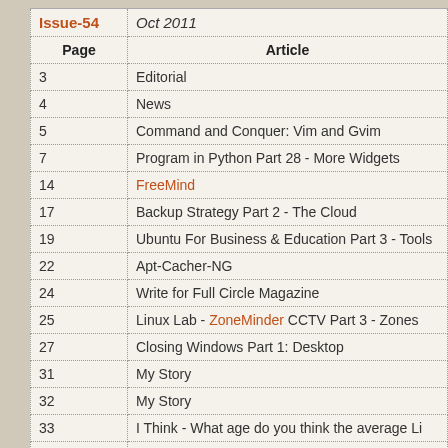| Issue-54 / Oct 2011 |  |
| --- | --- |
| Page | Article |
| 3 | Editorial |
| 4 | News |
| 5 | Command and Conquer: Vim and Gvim |
| 7 | Program in Python Part 28 - More Widgets |
| 14 | FreeMind |
| 17 | Backup Strategy Part 2 - The Cloud |
| 19 | Ubuntu For Business & Education Part 3 - Tools |
| 22 | Apt-Cacher-NG |
| 24 | Write for Full Circle Magazine |
| 25 | Linux Lab - ZoneMinder CCTV Part 3 - Zones |
| 27 | Closing Windows Part 1: Desktop |
| 31 | My Story |
| 32 | My Story |
| 33 | I Think - What age do you think the average Li |
| 35 | Review - Synergy |
| 37 | Letters |